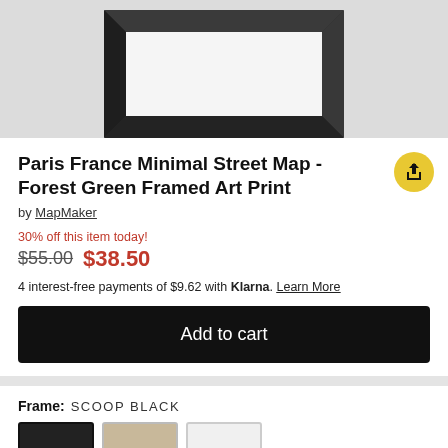[Figure (photo): Product image showing a black picture frame (scoop black style) mounted on a light gray wall, viewed from below. The frame has a wide black molding and a white/light interior.]
Paris France Minimal Street Map - Forest Green Framed Art Print
by MapMaker
30% off this item today!
$55.00 $38.50
4 interest-free payments of $9.62 with Klarna. Learn More
Add to cart
Frame: SCOOP BLACK